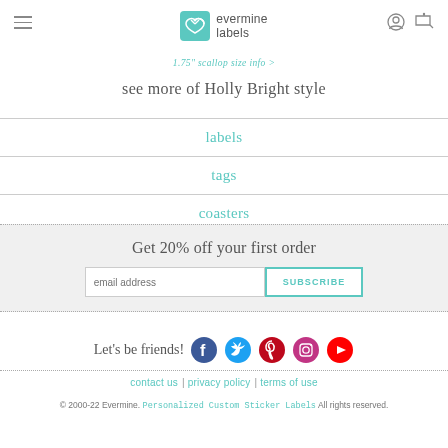evermine labels
1.75" scallop size info >
see more of Holly Bright style
labels
tags
coasters
Get 20% off your first order
email address  SUBSCRIBE
Let's be friends!
contact us  |  privacy policy  |  terms of use
© 2000-22 Evermine. Personalized Custom Sticker Labels All rights reserved.